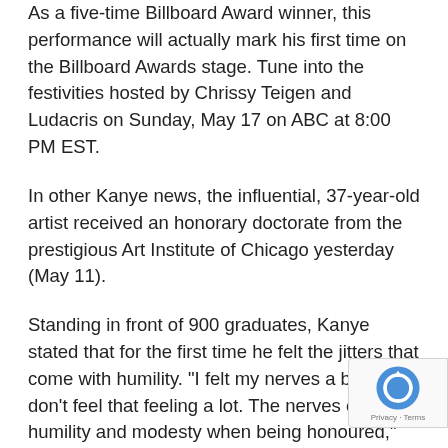As a five-time Billboard Award winner, this performance will actually mark his first time on the Billboard Awards stage. Tune into the festivities hosted by Chrissy Teigen and Ludacris on Sunday, May 17 on ABC at 8:00 PM EST.
In other Kanye news, the influential, 37-year-old artist received an honorary doctorate from the prestigious Art Institute of Chicago yesterday (May 11).
Standing in front of 900 graduates, Kanye stated that for the first time he felt the jitters that come with humility. "I felt my nerves a bit, and I don't feel that feeling a lot. The nerves of humility and modesty when being honoured," he said. "A humanization, a real being recognized. And all I thought as I sit here, k shaking a little bit is — I need to get rid of that feeling!
[Figure (other): reCAPTCHA badge with logo and Privacy-Terms label]